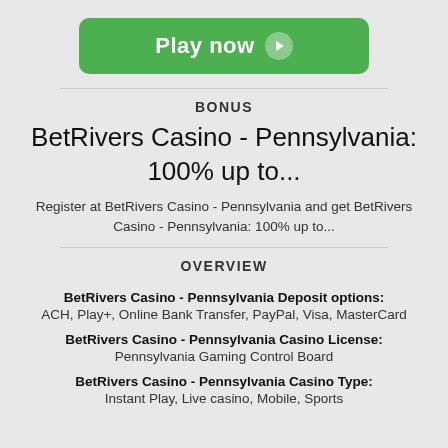[Figure (other): Green 'Play now' button with right-arrow circle icon]
BONUS
BetRivers Casino - Pennsylvania: 100% up to...
Register at BetRivers Casino - Pennsylvania and get BetRivers Casino - Pennsylvania: 100% up to...
OVERVIEW
BetRivers Casino - Pennsylvania Deposit options:
ACH, Play+, Online Bank Transfer, PayPal, Visa, MasterCard
BetRivers Casino - Pennsylvania Casino License:
Pennsylvania Gaming Control Board
BetRivers Casino - Pennsylvania Casino Type:
Instant Play, Live casino, Mobile, Sports